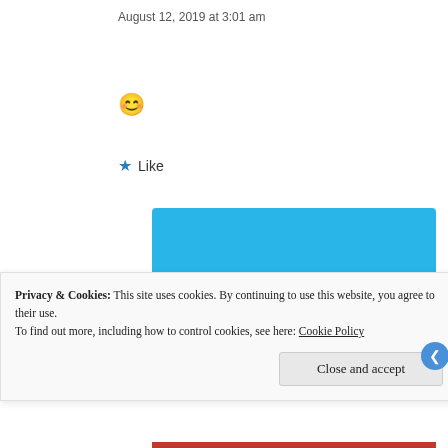August 12, 2019 at 3:01 am
[Figure (illustration): Smiley face emoji 😊]
★ Like
[Figure (illustration): Day One app advertisement banner with blue background, showing a person holding a phone with notebook icons, text: DAY ONE - The only journaling app you'll ever need. Get the app button.]
Privacy & Cookies: This site uses cookies. By continuing to use this website, you agree to their use.
To find out more, including how to control cookies, see here: Cookie Policy
Close and accept